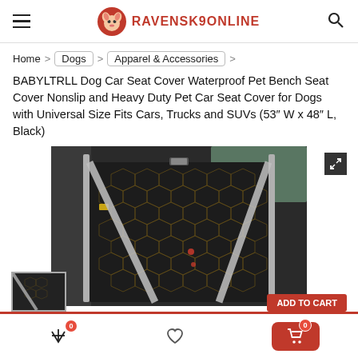RAVENSK9ONLINE
Home > Dogs > Apparel & Accessories >
BABYLTRLL Dog Car Seat Cover Waterproof Pet Bench Seat Cover Nonslip and Heavy Duty Pet Car Seat Cover for Dogs with Universal Size Fits Cars, Trucks and SUVs (53″ W x 48″ L, Black)
[Figure (photo): Black quilted dog car seat cover installed in a vehicle's back seat, showing the honeycomb pattern fabric with silver trim and seat belt openings.]
Bottom navigation bar with wishlist icon, heart icon, and cart (0 items)